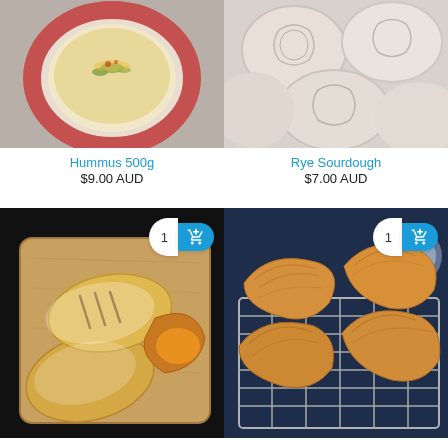[Figure (photo): Hummus in a pink ceramic bowl garnished with herbs and spices on a grey surface]
Hummus 500g
$9.00 AUD
[Figure (photo): Rye sourdough bread loaves from above on a light background]
Rye Sourdough
$7.00 AUD
[Figure (photo): 4 Apple turnovers on a wooden board against a dark background, with quantity 1 and add to cart button overlay]
4 Apple Turnovers (bake at home)
$14.00 AUD
[Figure (photo): 4 Croissants on a wire cooling rack against a dark navy background, with quantity 1 and add to cart button overlay]
4 Croissants (bake at home)
$14.00 AUD